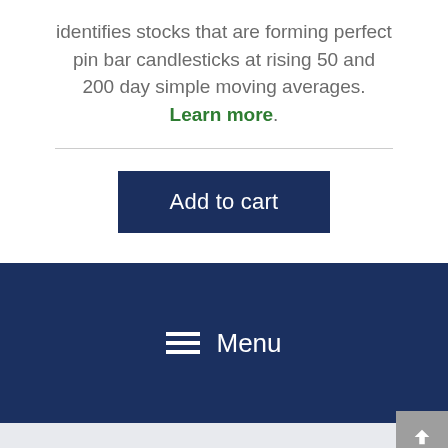identifies stocks that are forming perfect pin bar candlesticks at rising 50 and 200 day simple moving averages. Learn more.
[Figure (other): Add to cart button — dark navy blue rectangular button with white text reading 'Add to cart']
Menu